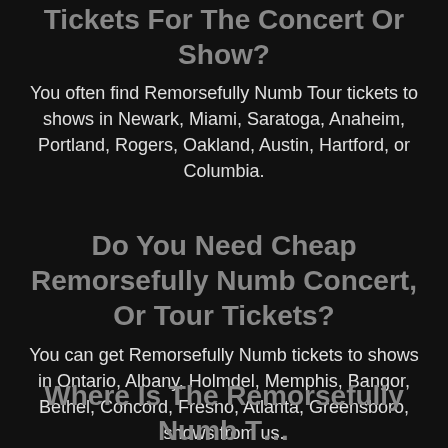How To Buy Remorsefully Numb Tour Tickets For The Concert Or Show?
You often find Remorsefully Numb Tour tickets to shows in Newark, Miami, Saratoga, Anaheim, Portland, Rogers, Oakland, Austin, Hartford, or Columbia.
Do You Need Cheap Remorsefully Numb Concert, Or Tour Tickets?
You can get Remorsefully Numb tickets to shows in Ontario, Albany, Holmdel, Memphis, Bangor, Bethel, Concord, Fresno, Atlanta, Greensboro, shows from us.
Where Is The Remorsefully Numb T…